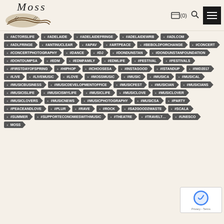MOSS - header with logo, cart (0), search, menu
#ACTORSLIFE
#ADELAIDE
#ADELAIDEFRINGE
#ADELAIDEWRB
#ADLCOM
#ADLFRINGE
#ANTINUCLEAR
#APAV
#ARTPEACE
#BEBOLDFORCHANGE
#CONCERT
#CONCERTPHOTOGRAPHY
#DANCE
#DJ
#DONDUNSTAN
#DONDUNSTANFOUNDATION
#DONTDUMPSA
#EDM
#EDMFAMILY
#EDMLIFE
#FESTIVAL
#FESTIVALS
#FIRSTDAYOFSPRING
#HIPHOP
#ICHOOSESA
#INSTAGOOD
#ISTANDUP
#IWD2017
#LIVE
#LIVEMUSIC
#LOVE
#MOSSMUSIC
#MUSIC
#MUSICA
#MUSICAL
#MUSICBUSINESS
#MUSICDEVELOPMENTOFFICE
#MUSICFEST
#MUSICIAN
#MUSICIANS
#MUSICISLIFE
#MUSICISMYLIFE
#MUSICLIFE
#MUSICLOVE
#MUSICLOVER
#MUSICLOVERS
#MUSICNEWS
#MUSICPHOTOGRAPHY
#MUSICSA
#PARTY
#PEACEANDLOVE
#PLUR
#RAVE
#ROCK
#SA2GOOD2WASTE
#SCALA
#SUMMER
#SUPPORTECONOMIESWITHMUSIC
#THEATRE
#TRAVELT...
#UNESCO
MOSS